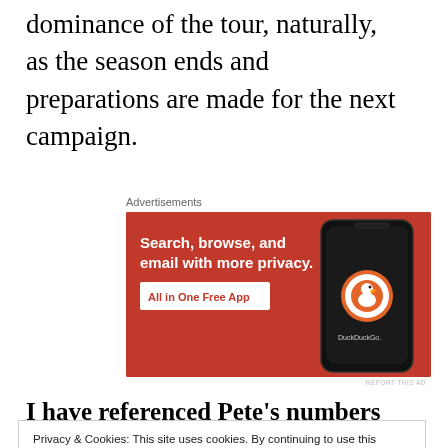dominance of the tour, naturally, as the season ends and preparations are made for the next campaign.
Advertisements
[Figure (other): DuckDuckGo advertisement: Search, browse, and email with more privacy. All in One Free App. Shows a phone with DuckDuckGo logo.]
REPORT THIS AD
I have referenced Pete’s numbers there a few
Privacy & Cookies: This site uses cookies. By continuing to use this website, you agree to their use.
To find out more, including how to control cookies, see here: Cookie Policy
Close and accept